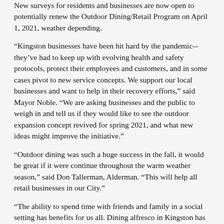New surveys for residents and businesses are now open to potentially renew the Outdoor Dining/Retail Program on April 1, 2021, weather depending.
“Kingston businesses have been hit hard by the pandemic-- they’ve had to keep up with evolving health and safety protocols, protect their employees and customers, and in some cases pivot to new service concepts. We support our local businesses and want to help in their recovery efforts,” said Mayor Noble. “We are asking businesses and the public to weigh in and tell us if they would like to see the outdoor expansion concept revived for spring 2021, and what new ideas might improve the initiative.”
“Outdoor dining was such a huge success in the fall, it would be great if it were continue throughout the warm weather season,” said Don Tallerman, Alderman. “This will help all retail businesses in our City.”
“The ability to spend time with friends and family in a social setting has benefits for us all. Dining alfresco in Kingston has provided a great solution for many businesses and customers.”